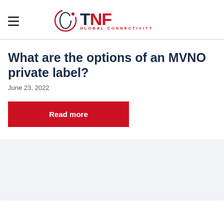TNF GLOBAL CONNECTIVITY
What are the options of an MVNO private label?
June 23, 2022
Read more